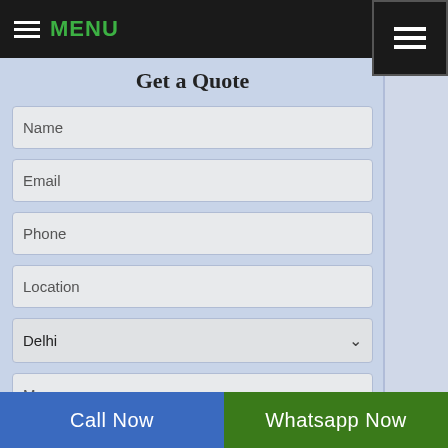MENU
Get a Quote
Name
Email
Phone
Location
Delhi
Message
SUBMIT
Call Now
Whatsapp Now